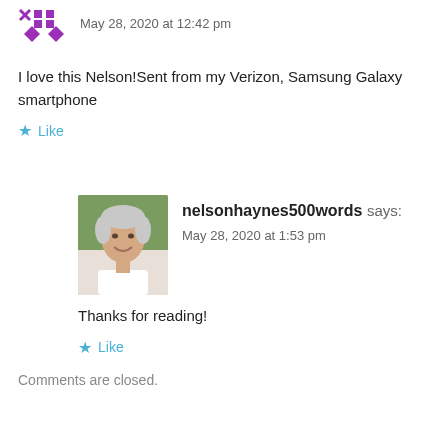[Figure (logo): Purple geometric/pixel avatar icon for a commenter]
May 28, 2020 at 12:42 pm
I love this Nelson!Sent from my Verizon, Samsung Galaxy smartphone
Like
[Figure (photo): Profile photo of nelsonhaynes500words - middle-aged man with grey hair, smiling, wearing white shirt]
nelsonhaynes500words says:
May 28, 2020 at 1:53 pm
Thanks for reading!
Like
Comments are closed.